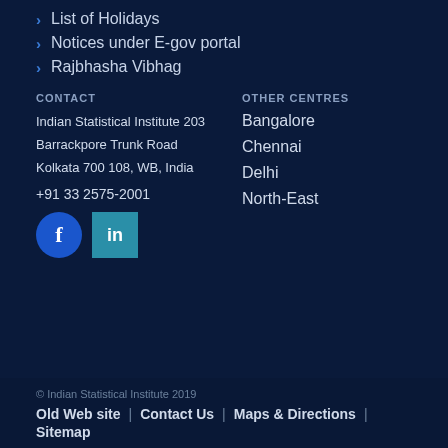List of Holidays
Notices under E-gov portal
Rajbhasha Vibhag
CONTACT
Indian Statistical Institute 203 Barrackpore Trunk Road Kolkata 700 108, WB, India
+91 33 2575-2001
[Figure (logo): Facebook and LinkedIn social media icons]
OTHER CENTRES
Bangalore
Chennai
Delhi
North-East
© Indian Statistical Institute 2019 | Old Web site | Contact Us | Maps & Directions | Sitemap